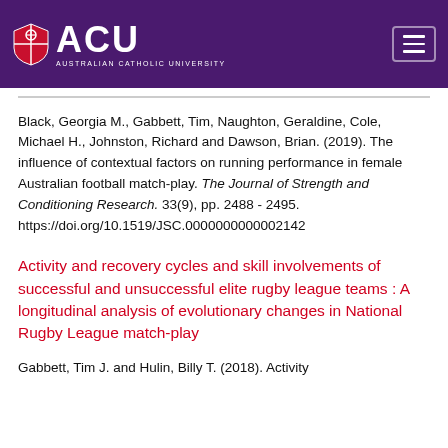[Figure (logo): Australian Catholic University (ACU) logo with shield icon and hamburger menu button on purple header bar]
Black, Georgia M., Gabbett, Tim, Naughton, Geraldine, Cole, Michael H., Johnston, Richard and Dawson, Brian. (2019). The influence of contextual factors on running performance in female Australian football match-play. The Journal of Strength and Conditioning Research. 33(9), pp. 2488 - 2495. https://doi.org/10.1519/JSC.0000000000002142
Activity and recovery cycles and skill involvements of successful and unsuccessful elite rugby league teams : A longitudinal analysis of evolutionary changes in National Rugby League match-play
Gabbett, Tim J. and Hulin, Billy T. (2018). Activity